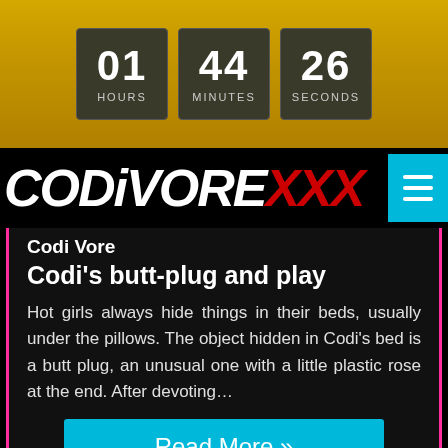[Figure (screenshot): Countdown timer showing 01 HOURS, 44 MINUTES, 26 SECONDS on a gold background]
[Figure (logo): CODiVORE XXX logo with white and red text on black background, with cyan hamburger menu button]
Codi Vore
Codi's butt-plug and play
Hot girls always hide things in their beds, usually under the pillows. The object hidden in Codi's bed is a butt plug, an unusual one with a little plastic rose at the end. After devoting…
Read More »
Join Now »